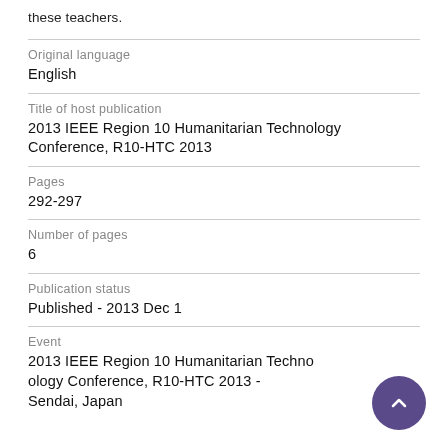these teachers.
| Original language | English |
| Title of host publication | 2013 IEEE Region 10 Humanitarian Technology Conference, R10-HTC 2013 |
| Pages | 292-297 |
| Number of pages | 6 |
| Publication status | Published - 2013 Dec 1 |
| Event | 2013 IEEE Region 10 Humanitarian Technology Conference, R10-HTC 2013 - Sendai, Japan |